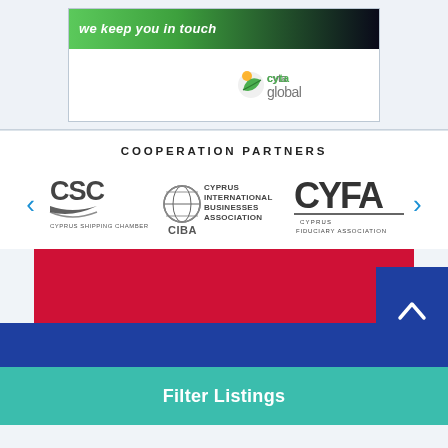[Figure (logo): Cytaglobal advertisement banner with green gradient header reading 'we keep you in touch' and cytaglobal logo with leaf icon]
COOPERATION PARTNERS
[Figure (logo): Carousel of cooperation partner logos: CSC Cyprus Shipping Chamber, CIBA Cyprus International Businesses Association, CYFA Cyprus Fiduciary Association, with left/right navigation arrows]
[Figure (other): Red and blue colored section bands at bottom of page]
Filter Listings